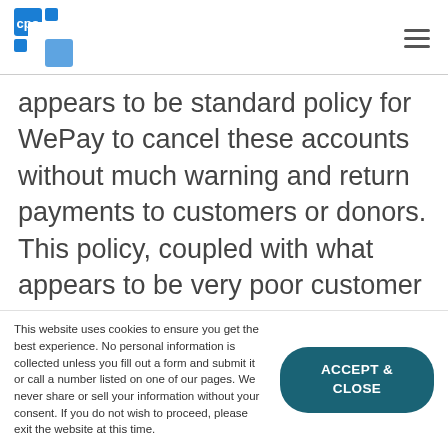CPO logo and navigation
appears to be standard policy for WePay to cancel these accounts without much warning and return payments to customers or donors. This policy, coupled with what appears to be very poor customer service, seems to be leaving merchants out in the cold for engaging in what they thought to be approved transactions. These merchants
This website uses cookies to ensure you get the best experience. No personal information is collected unless you fill out a form and submit it or call a number listed on one of our pages. We never share or sell your information without your consent. If you do not wish to proceed, please exit the website at this time.
ACCEPT & CLOSE